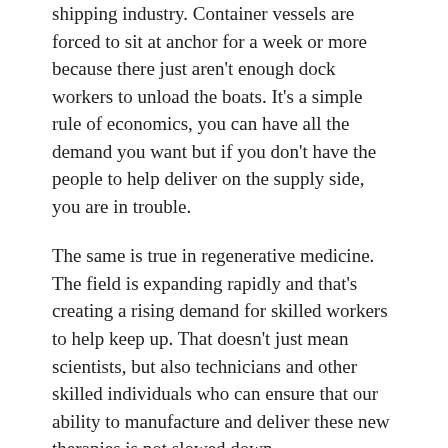shipping industry. Container vessels are forced to sit at anchor for a week or more because there just aren't enough dock workers to unload the boats. It's a simple rule of economics, you can have all the demand you want but if you don't have the people to help deliver on the supply side, you are in trouble.
The same is true in regenerative medicine. The field is expanding rapidly and that's creating a rising demand for skilled workers to help keep up. That doesn't just mean scientists, but also technicians and other skilled individuals who can ensure that our ability to manufacture and deliver these new therapies is not slowed down.
That's one of the reasons why CIRM has been a big supporter of training programs ever since we were